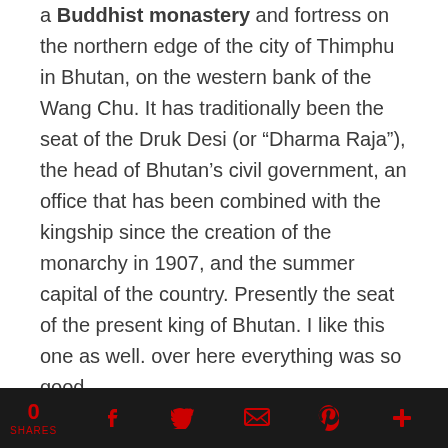a Buddhist monastery and fortress on the northern edge of the city of Thimphu in Bhutan, on the western bank of the Wang Chu. It has traditionally been the seat of the Druk Desi (or "Dharma Raja"), the head of Bhutan's civil government, an office that has been combined with the kingship since the creation of the monarchy in 1907, and the summer capital of the country. Presently the seat of the present king of Bhutan. I like this one as well. over here everything was so good
0 SHARES  f  [twitter]  [email]  [pinterest]  +